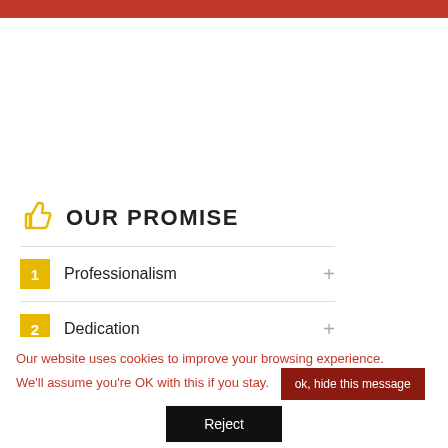[Figure (photo): Red decorative bar at the top of the page]
[Figure (photo): Partial photo of a woman with red hair and a bird silhouette on the right side]
OUR PROMISE
1 Professionalism
2 Dedication
3 Flexibility (partially visible)
Our website uses cookies to improve your browsing experience. We'll assume you're OK with this if you stay.
ok, hide this message
Reject